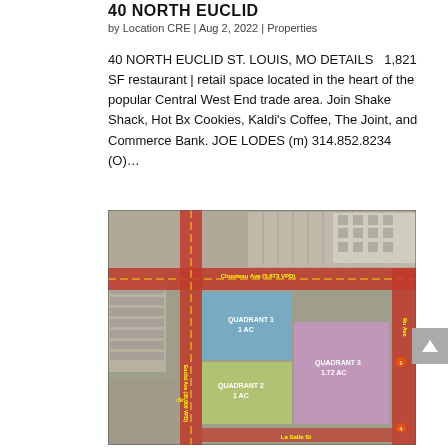40 NORTH EUCLID
by Location CRE | Aug 2, 2022 | Properties
40 NORTH EUCLID ST. LOUIS, MO DETAILS  1,821 SF restaurant | retail space located in the heart of the popular Central West End trade area. Join Shake Shack, Hot Bx Cookies, Kaldi’s Coffee, The Joint, and Commerce Bank. JOE LODES (m) 314.852.8234 (O)...
[Figure (map): Aerial map showing a city intersection with quadrant parcels labeled: Quadrant 1 (1 AC, blue), Quadrant 2 (1 AC, yellow-green), Quadrant 3 (1.72 AC, purple/pink). Streets labeled include Chouteau Ave and La Salle St. The map shows surrounding urban buildings and parking lots.]